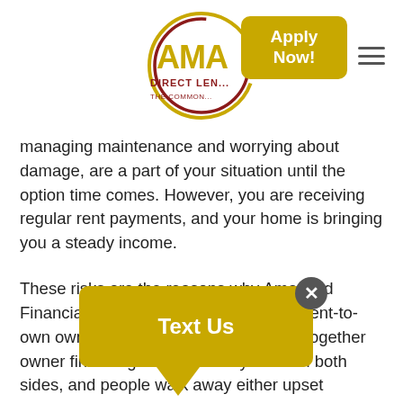[Figure (logo): Amansad Direct Lending logo — circular gold/dark-red emblem with text 'AMA... DIRECT LEN... THE COMMON...' with 'Apply Now!' golden button overlay and hamburger menu icon]
managing maintenance and worrying about damage, are a part of your situation until the option time comes. However, you are receiving regular rent payments, and your home is bringing you a steady income.
These risks are the reasons why Amansad Financial no longer offers or promotes rent-to-own owner financing and does not put together owner financing deals. Too many risks on both sides, and people walk away either upset because they couldn't qualify
[Figure (other): Yellow 'Text Us' chat bubble widget with close (X) button]